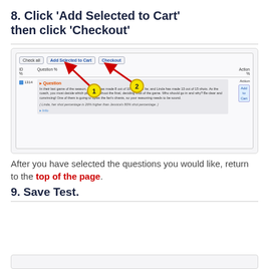8. Click 'Add Selected to Cart' then click 'Checkout'
[Figure (screenshot): Screenshot of a question bank interface showing toolbar buttons 'Check all', 'Add Selected to Cart', and 'Checkout', with red arrows pointing to 'Add Selected to Cart' (labeled 1) and 'Checkout' (labeled 2). Below is a question row with ID 1314 showing a question about basketball shot percentages.]
After you have selected the questions you would like, return to the top of the page.
9. Save Test.